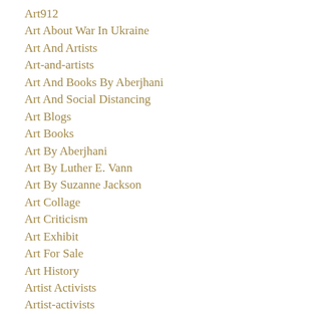Art912
Art About War In Ukraine
Art And Artists
Art-and-artists
Art And Books By Aberjhani
Art And Social Distancing
Art Blogs
Art Books
Art By Aberjhani
Art By Luther E. Vann
Art By Suzanne Jackson
Art Collage
Art Criticism
Art Exhibit
Art For Sale
Art History
Artist Activists
Artist-activists
Artist Blogs
Artist Known As Prince
Artist Named Rocky